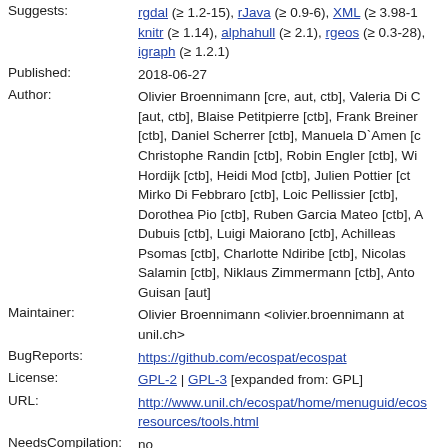Suggests: rgdal (>= 1.2-15), rJava (>= 0.9-6), XML (>= 3.98-1), knitr (>= 1.14), alphahull (>= 2.1), rgeos (>= 0.3-28), igraph (>= 1.2.1)
Published: 2018-06-27
Author: Olivier Broennimann [cre, aut, ctb], Valeria Di C [aut, ctb], Blaise Petitpierre [ctb], Frank Breiner [ctb], Daniel Scherrer [ctb], Manuela D'Amen [ctb], Christophe Randin [ctb], Robin Engler [ctb], Wi Hordijk [ctb], Heidi Mod [ctb], Julien Pottier [ctb], Mirko Di Febbraro [ctb], Loic Pellissier [ctb], Dorothea Pio [ctb], Ruben Garcia Mateo [ctb], A Dubuis [ctb], Luigi Maiorano [ctb], Achilleas Psomas [ctb], Charlotte Ndiribe [ctb], Nicolas Salamin [ctb], Niklaus Zimmermann [ctb], Anto Guisan [aut]
Maintainer: Olivier Broennimann <olivier.broennimann at unil.ch>
BugReports: https://github.com/ecospat/ecospat
License: GPL-2 | GPL-3 [expanded from: GPL]
URL: http://www.unil.ch/ecospat/home/menuguid/ecos resources/tools.html
NeedsCompilation: no
Materials: NEWS